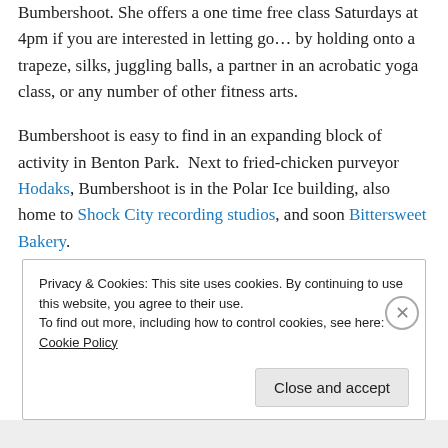Bumbershoot. She offers a one time free class Saturdays at 4pm if you are interested in letting go… by holding onto a trapeze, silks, juggling balls, a partner in an acrobatic yoga class, or any number of other fitness arts.
Bumbershoot is easy to find in an expanding block of activity in Benton Park.  Next to fried-chicken purveyor Hodaks, Bumbershoot is in the Polar Ice building, also home to Shock City recording studios, and soon Bittersweet Bakery.
Privacy & Cookies: This site uses cookies. By continuing to use this website, you agree to their use.
To find out more, including how to control cookies, see here: Cookie Policy